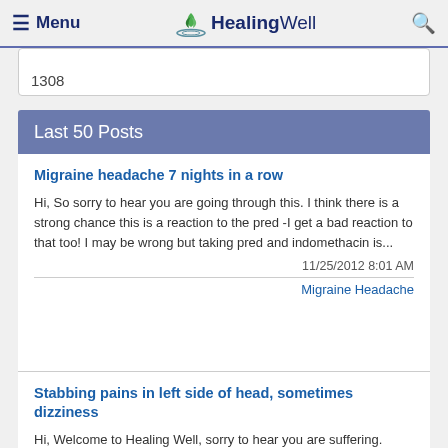≡ Menu  HealingWell  🔍
1308
Last 50 Posts
Migraine headache 7 nights in a row
Hi, So sorry to hear you are going through this. I think there is a strong chance this is a reaction to the pred -I get a bad reaction to that too! I may be wrong but taking pred and indomethacin is...
11/25/2012 8:01 AM
Migraine Headache
Stabbing pains in left side of head, sometimes dizziness
Hi, Welcome to Healing Well, sorry to hear you are suffering. Please try not to worry, everyone (including me lol) has at some point thought they have a brain tumour